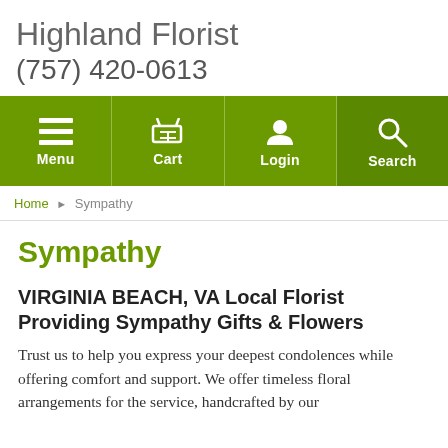Highland Florist
(757) 420-0613
[Figure (screenshot): Green navigation bar with Menu, Cart, Login, and Search icons]
Home ▶ Sympathy
Sympathy
VIRGINIA BEACH, VA Local Florist Providing Sympathy Gifts & Flowers
Trust us to help you express your deepest condolences while offering comfort and support. We offer timeless floral arrangements for the service, handcrafted by our